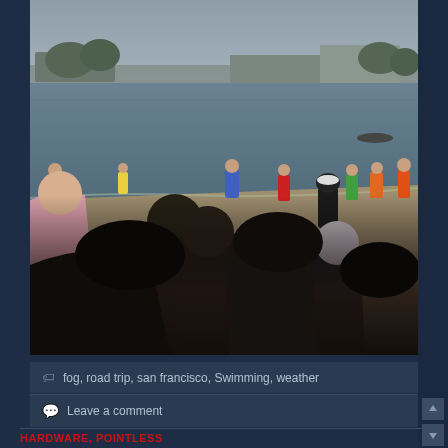[Figure (photo): Outdoor beach/waterfront scene with people gathered on a sandy shore watching others in the water. Overcast/foggy sky, trees and buildings visible across the water in the background. People in foreground are silhouetted, various colorful jackets visible on people further away.]
fog, road trip, san francisco, Swimming, weather
Leave a comment
HARDWARE, POINTLESS
its hard to believe my office could be so cold with all